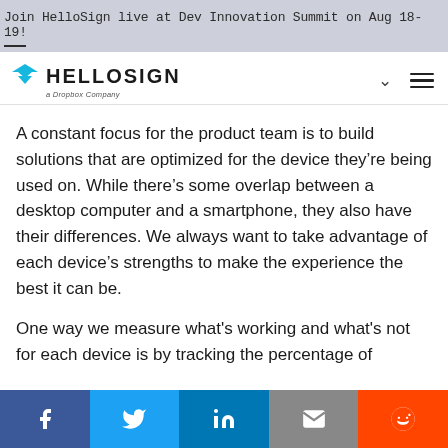Join HelloSign live at Dev Innovation Summit on Aug 18-19!
[Figure (logo): HelloSign logo - a Dropbox Company, with teal downward chevron/triangle icon]
A constant focus for the product team is to build solutions that are optimized for the device they’re being used on. While there’s some overlap between a desktop computer and a smartphone, they also have their differences. We always want to take advantage of each device’s strengths to make the experience the best it can be.
One way we measure what's working and what's not for each device is by tracking the percentage of...